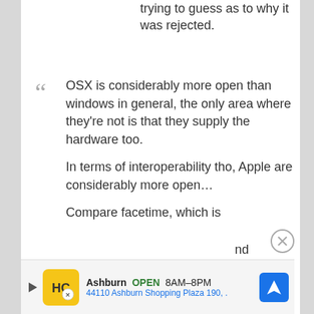trying to guess as to why it was rejected.
OSX is considerably more open than windows in general, the only area where they're not is that they supply the hardware too.
In terms of interoperability tho, Apple are considerably more open…
Compare facetime, which is
nd
[Figure (other): Advertisement banner: HC logo (yellow), Ashburn OPEN 8AM-8PM, 44110 Ashburn Shopping Plaza 190, with blue navigation arrow icon and close button]